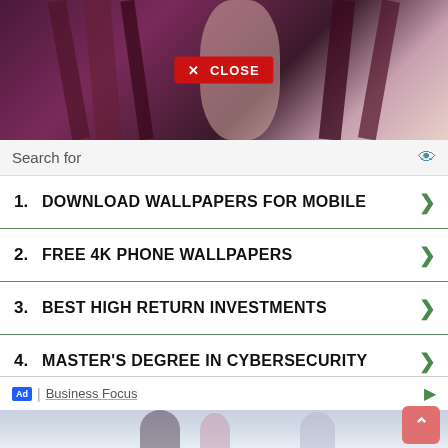[Figure (screenshot): Anime-style banner image showing dark-haired character with decorative background and a red CLOSE button overlay]
Search for
1.  DOWNLOAD WALLPAPERS FOR MOBILE
2.  FREE 4K PHONE WALLPAPERS
3.  BEST HIGH RETURN INVESTMENTS
4.  MASTER'S DEGREE IN CYBERSECURITY
5.  STOCKS TO INVEST IN
6.  VALUE OF MY USED CAR
Ad | Business Focus
[Figure (screenshot): Anime-style bottom banner image with characters]